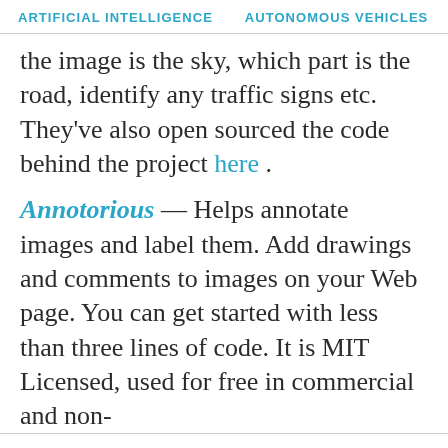ARTIFICIAL INTELLIGENCE   AUTONOMOUS VEHICLES   RO…
the image is the sky, which part is the road, identify any traffic signs etc. They've also open sourced the code behind the project here .
Annotorious — Helps annotate images and label them. Add drawings and comments to images on your Web page. You can get started with less than three lines of code. It is MIT Licensed, used for free in commercial and non-
We use analytics to learn how we can improve your Wevolver experience. By continuing to browse the site you're agreeing to our use of cookies to do so. You can read our cookie policy here.